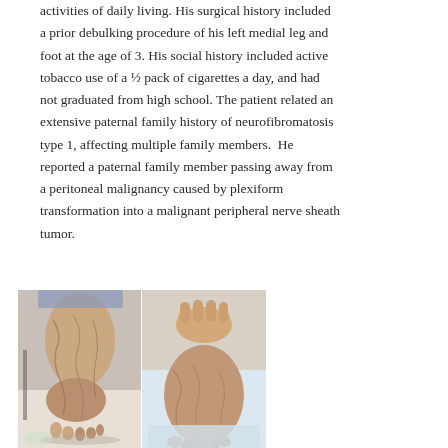activities of daily living. His surgical history included a prior debulking procedure of his left medial leg and foot at the age of 3. His social history included active tobacco use of a ½ pack of cigarettes a day, and had not graduated from high school. The patient related an extensive paternal family history of neurofibromatosis type 1, affecting multiple family members.  He reported a paternal family member passing away from a peritoneal malignancy caused by plexiform transformation into a malignant peripheral nerve sheath tumor.
[Figure (photo): Two clinical photographs side by side showing a patient's left lower leg and foot with significant soft tissue hypertrophy and skin changes consistent with neurofibromatosis/plexiform neurofibroma. Left image shows the medial leg and foot from the side. Right image shows the plantar/bottom of the foot being held up for examination.]